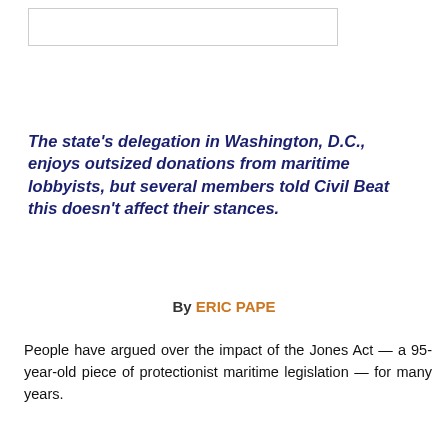[Figure (other): A rectangular box/image placeholder at the top of the page]
The state's delegation in Washington, D.C., enjoys outsized donations from maritime lobbyists, but several members told Civil Beat this doesn't affect their stances.
By ERIC PAPE
People have argued over the impact of the Jones Act — a 95-year-old piece of protectionist maritime legislation — for many years.